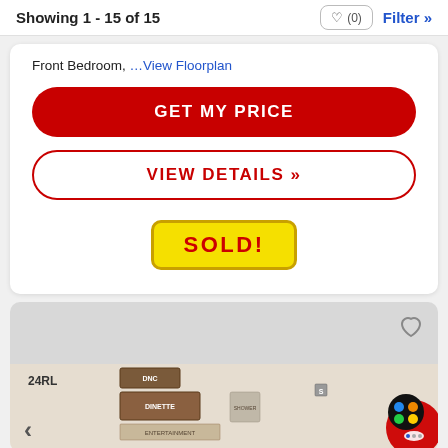Showing 1 - 15 of 15
Front Bedroom,  ...View Floorplan
GET MY PRICE
VIEW DETAILS »
SOLD!
[Figure (screenshot): Partial floorplan image for model 24RL showing a 2D layout with labeled rooms including DINETTE, ENTERTAINMENT, and other areas. Navigation arrow on lower left. Overlay app icons on lower right.]